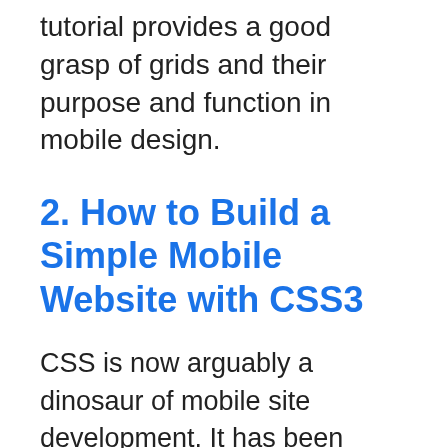tutorial provides a good grasp of grids and their purpose and function in mobile design.
2. How to Build a Simple Mobile Website with CSS3
CSS is now arguably a dinosaur of mobile site development. It has been consigned to a relic because of its lack of purpose for mobile applications. However, it is not entirely obsolete.
This tutorial describes the simple method to design mobile sites. The limitations of this